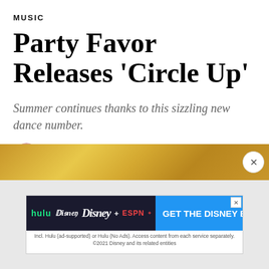MUSIC
Party Favor Releases 'Circle Up'
Summer continues thanks to this sizzling new dance number.
Brooke Ivey Johnson
10.19.2018
[Figure (other): Gold banner advertisement bar with close button]
[Figure (other): Hulu Disney+ ESPN+ GET THE DISNEY BUNDLE advertisement. Incl. Hulu (ad-supported) or Hulu (No Ads). Access content from each service separately. ©2021 Disney and its related entities]